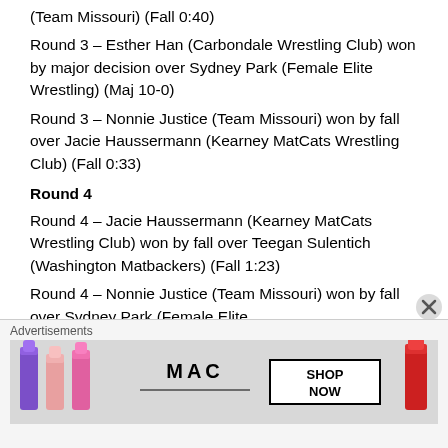(Team Missouri) (Fall 0:40)
Round 3 – Esther Han (Carbondale Wrestling Club) won by major decision over Sydney Park (Female Elite Wrestling) (Maj 10-0)
Round 3 – Nonnie Justice (Team Missouri) won by fall over Jacie Haussermann (Kearney MatCats Wrestling Club) (Fall 0:33)
Round 4
Round 4 – Jacie Haussermann (Kearney MatCats Wrestling Club) won by fall over Teegan Sulentich (Washington Matbackers) (Fall 1:23)
Round 4 – Nonnie Justice (Team Missouri) won by fall over Sydney Park (Female Elite
Advertisements
[Figure (photo): MAC cosmetics advertisement showing lipsticks in purple, pink and red colors with MAC logo and SHOP NOW button]